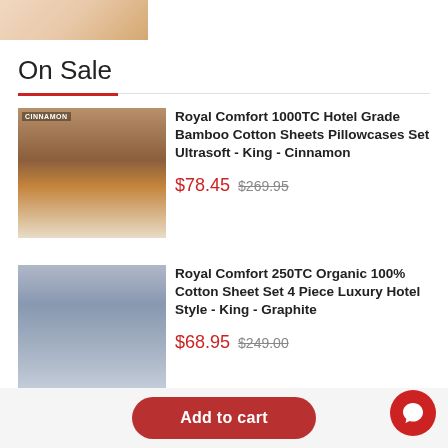[Figure (photo): Partial product image at top of page, showing warm toned bedding]
On Sale
[Figure (photo): Bedroom with cinnamon/orange colored bamboo cotton sheets and pillowcases on bed, labeled CINNAMON]
Royal Comfort 1000TC Hotel Grade Bamboo Cotton Sheets Pillowcases Set Ultrasoft - King - Cinnamon
$78.45  $269.95
[Figure (photo): Bedroom with graphite/grey organic cotton sheet set on bed]
Royal Comfort 250TC Organic 100% Cotton Sheet Set 4 Piece Luxury Hotel Style - King - Graphite
$68.95  $249.00
Add to cart